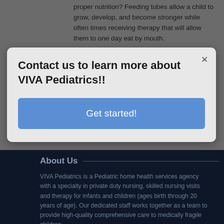proper nutrition? Feeding tubes allow a child to grow, develop, and become stronger while often times receiving therapy that will allow them to one day eat by mouth.
Contact us to learn more about VIVA Pediatrics!!
Get started!
About Us
VIVA Pediatrics is a Pediatric home health services agency with a specialty in private duty nursing, skilled nursing visits and therapy for infants and children (ages birth through 20 years of age). Our dedicated staff works together as a team to provide high-quality comprehensive care to medically fragile children.